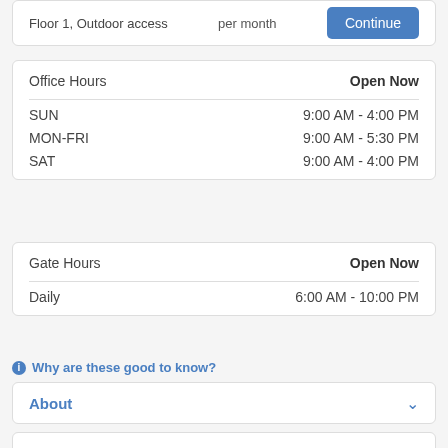Floor 1, Outdoor access   per month   Continue
| Office Hours | Open Now |
| --- | --- |
| SUN | 9:00 AM - 4:00 PM |
| MON-FRI | 9:00 AM - 5:30 PM |
| SAT | 9:00 AM - 4:00 PM |
| Gate Hours | Open Now |
| --- | --- |
| Daily | 6:00 AM - 10:00 PM |
ⓘ Why are these good to know?
About
Features
[Figure (map): Street map showing road near facility location]